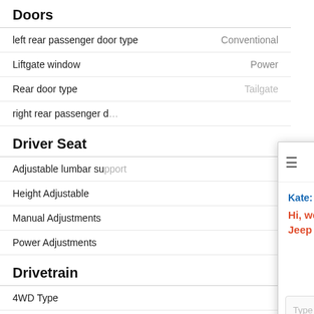Doors
| Feature | Value |
| --- | --- |
| left rear passenger door type | Conventional |
| Liftgate window | Power |
| Rear door type | Tailgate |
| right rear passenger door type |  |
Driver Seat
| Feature |
| --- |
| Adjustable lumbar support |
| Height Adjustable |
| Manual Adjustments |
| Power Adjustments |
Drivetrain
| Feature |
| --- |
| 4WD Type |
| Axle ratio |
| Descent Control |
| Driven Wheels |
| Locking Hubs |
[Figure (screenshot): Live chat widget from Hickman Chrysler Dodge Jeep RAM with a message from Kate: Hi, welcome to Hickman Chrysler Dodge Jeep website. How can I help you today? Includes a text input box and Powered By: LiveAdmins footer.]